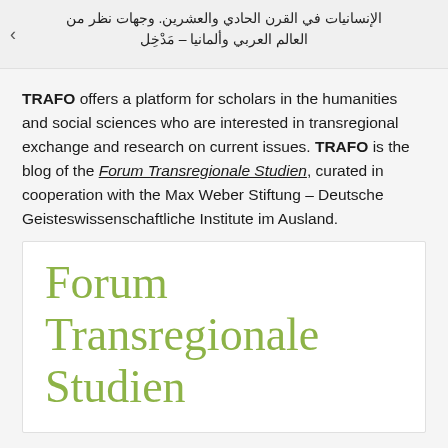الإنسانيات في القرن الحادي والعشرين. وجهات نظر من العالم العربي وألمانيا – مَدْخِل
TRAFO offers a platform for scholars in the humanities and social sciences who are interested in transregional exchange and research on current issues. TRAFO is the blog of the Forum Transregionale Studien, curated in cooperation with the Max Weber Stiftung – Deutsche Geisteswissenschaftliche Institute im Ausland.
[Figure (logo): Forum Transregionale Studien logo — large olive/yellow-green serif text reading 'Forum Transregionale Studien' on white background]